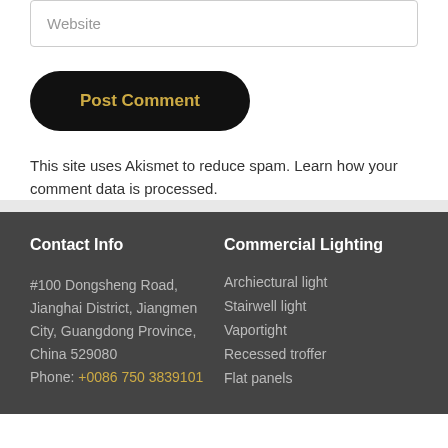Website
Post Comment
This site uses Akismet to reduce spam. Learn how your comment data is processed.
Contact Info
Commercial Lighting
#100 Dongsheng Road, Jianghai District, Jiangmen City, Guangdong Province, China 529080
Phone: +0086 750 3839101
Archiectural light
Stairwell light
Vaportight
Recessed troffer
Flat panels